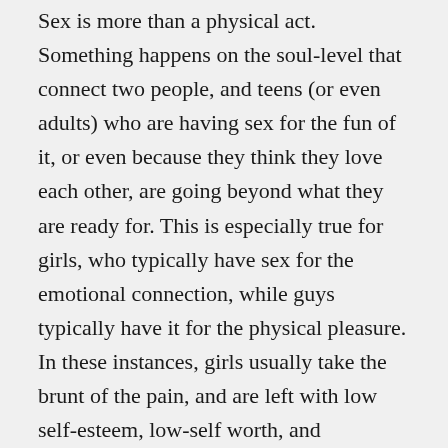Sex is more than a physical act. Something happens on the soul-level that connect two people, and teens (or even adults) who are having sex for the fun of it, or even because they think they love each other, are going beyond what they are ready for. This is especially true for girls, who typically have sex for the emotional connection, while guys typically have it for the physical pleasure. In these instances, girls usually take the brunt of the pain, and are left with low self-esteem, low-self worth, and confusion about what love really means. Spiritually, it also invites a great degree of guilt and shame and derails a strong relationship with Christ. In other words, sex before marriage wreaks havoc on the